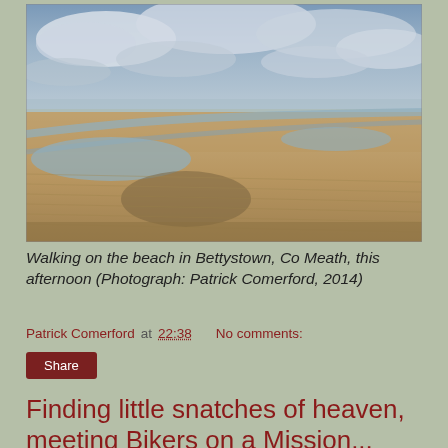[Figure (photo): Wide beach at low tide in Bettystown, Co Meath. Sandy flat beach with rippled sand patterns, shallow puddles of water reflecting the cloudy sky, overcast blue-grey sky with clouds above.]
Walking on the beach in Bettystown, Co Meath, this afternoon (Photograph: Patrick Comerford, 2014)
Patrick Comerford at 22:38   No comments:
Share
Finding little snatches of heaven, meeting Bikers on a Mission...